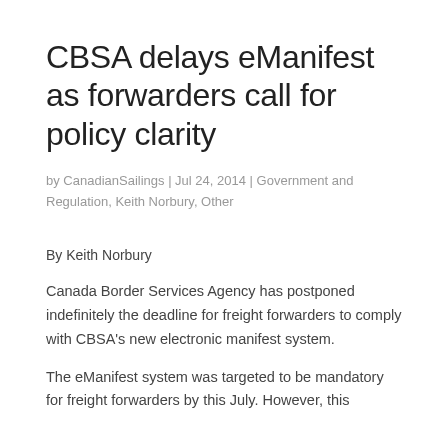CBSA delays eManifest as forwarders call for policy clarity
by CanadianSailings | Jul 24, 2014 | Government and Regulation, Keith Norbury, Other
By Keith Norbury
Canada Border Services Agency has postponed indefinitely the deadline for freight forwarders to comply with CBSA’s new electronic manifest system.
The eManifest system was targeted to be mandatory for freight forwarders by this July. However, this